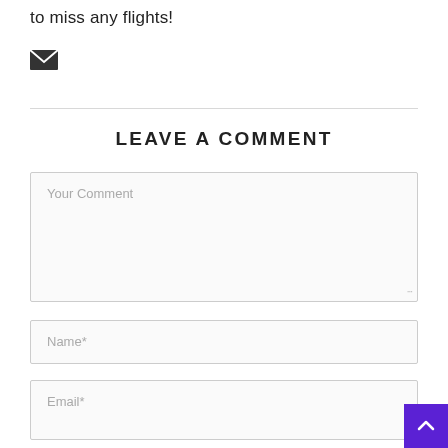to miss any flights!
[Figure (illustration): Email/envelope icon (dark filled envelope shape)]
LEAVE A COMMENT
Your Comment (text area placeholder)
Name* (input placeholder)
Email* (input placeholder)